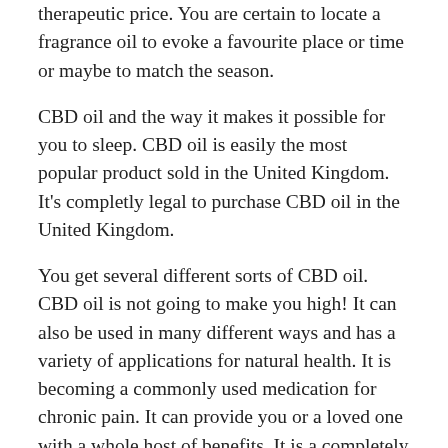therapeutic price. You are certain to locate a fragrance oil to evoke a favourite place or time or maybe to match the season.
CBD oil and the way it makes it possible for you to sleep. CBD oil is easily the most popular product sold in the United Kingdom. It's completly legal to purchase CBD oil in the United Kingdom.
You get several different sorts of CBD oil. CBD oil is not going to make you high! It can also be used in many different ways and has a variety of applications for natural health. It is becoming a commonly used medication for chronic pain. It can provide you or a loved one with a whole host of benefits. It is a completely natural supplement that is sourced from low-level THC cannabis. Still, the Koi CBD vape oil may be a great choice for immediate relief in times where you don't have accessibility to your edible oil, as it's one of the absolute most efficient CBD vape oils whom I've tried.
Uk Cbd Oils – the Story
The suggested dosage is 2 20 drops daily. A proper dosage of CBD oil will be contingent on the individual, to gather with the